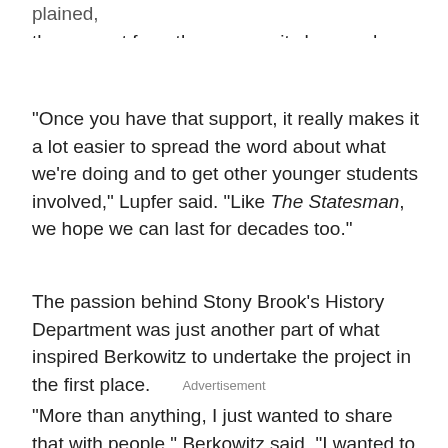plained, the support from the community has made their work that much more worthwhile.
“Once you have that support, it really makes it a lot easier to spread the word about what we’re doing and to get other younger students involved,” Lupfer said. “Like The Statesman, we hope we can last for decades too.”
The passion behind Stony Brook’s History Department was just another part of what inspired Berkowitz to undertake the project in the first place.
Advertisement
“More than anything, I just wanted to share that with people,” Berkowitz said. “I wanted to make people